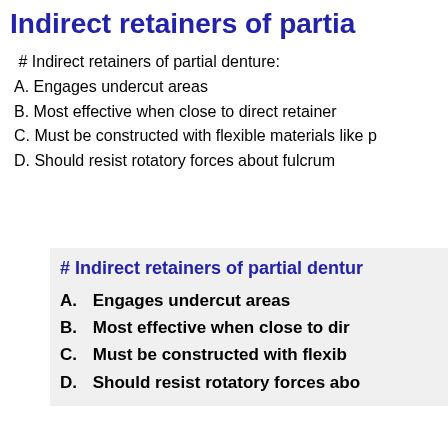Indirect retainers of partia
# Indirect retainers of partial denture:
A. Engages undercut areas
B. Most effective when close to direct retainer
C. Must be constructed with flexible materials like p
D. Should resist rotatory forces about fulcrum
# Indirect retainers of partial dentur
A. Engages undercut areas
B. Most effective when close to dir
C. Must be constructed with flexib
D. Should resist rotatory forces abo